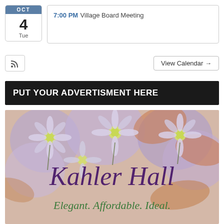[Figure (screenshot): Calendar icon showing OCT 4 Tue]
7:00 PM Village Board Meeting
[Figure (other): RSS feed icon button]
View Calendar →
PUT YOUR ADVERTISMENT HERE
[Figure (photo): Kahler Hall advertisement image with purple daisy flowers background and text: Kahler Hall, Elegant. Affordable. Ideal.]